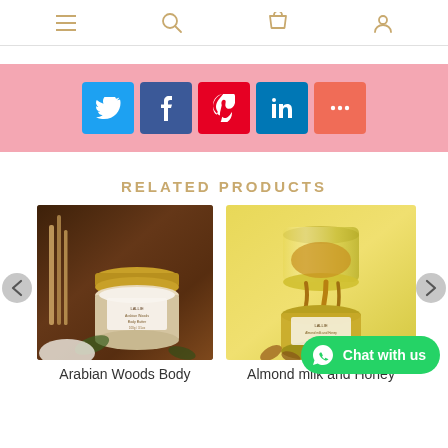Navigation icons: menu, search, cart, user
[Figure (infographic): Pink banner with social share buttons: Twitter (blue), Facebook (dark blue), Pinterest (red), LinkedIn (blue), More (orange-red)]
RELATED PRODUCTS
[Figure (photo): Arabian Woods Body Butter product photo - jar of cream with wooden sticks on dark wooden background]
Arabian Woods Body
[Figure (photo): Almond milk and Honey Body product photo - glass jar with honey dripping on yellow background with almonds]
Almond milk and Honey